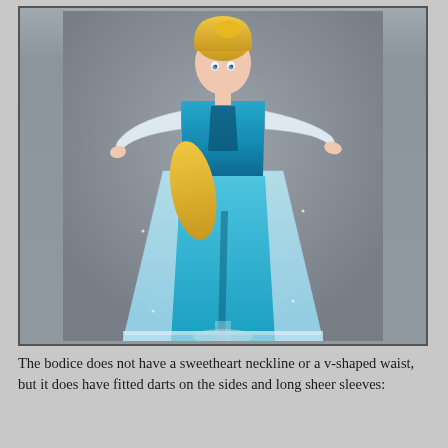[Figure (photo): A fashion doll (resembling Elsa from Frozen) wearing a light blue sparkly gown with sheer long sleeves, a blue satin underdress with a front slit, and a glittery cape/train. The doll has blonde hair and stands on a clear plastic stand against a grey background.]
The bodice does not have a sweetheart neckline or a v-shaped waist, but it does have fitted darts on the sides and long sheer sleeves: